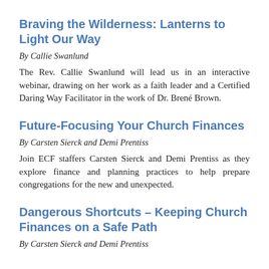Braving the Wilderness: Lanterns to Light Our Way
By Callie Swanlund
The Rev. Callie Swanlund will lead us in an interactive webinar, drawing on her work as a faith leader and a Certified Daring Way Facilitator in the work of Dr. Brené Brown.
Future-Focusing Your Church Finances
By Carsten Sierck and Demi Prentiss
Join ECF staffers Carsten Sierck and Demi Prentiss as they explore finance and planning practices to help prepare congregations for the new and unexpected.
Dangerous Shortcuts – Keeping Church Finances on a Safe Path
By Carsten Sierck and Demi Prentiss